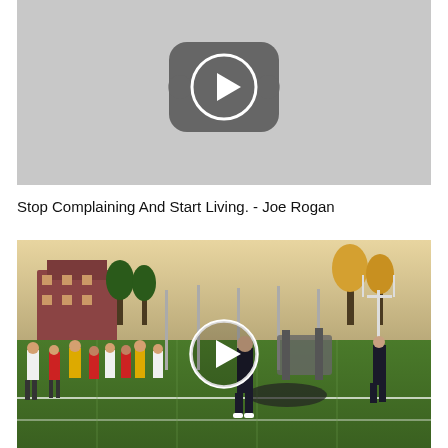[Figure (screenshot): YouTube video thumbnail showing a gray background with a YouTube play button icon in the center]
Stop Complaining And Start Living. - Joe Rogan
[Figure (photo): A football practice field scene with players in red and white uniforms, a man in dark clothing walking, another person running, with stadium buildings and trees visible in the background. A white circular play button is overlaid in the center.]